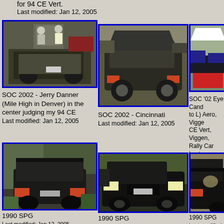for 94 CE Vert.
Last modified: Jan 12, 2005
[Figure (photo): SOC 2002 - Jerry Danner (Mile High in Denver) in the center judging my 94 CE - rear view of black convertible Saab]
SOC 2002 - Jerry Danner (Mile High in Denver) in the center judging my 94 CE
Last modified: Jan 12, 2005
[Figure (photo): SOC 2002 - Cincinnati - rear view of dark Saab with trunk open]
SOC 2002 - Cincinnati
Last modified: Jan 12, 2005
[Figure (photo): SOC '02 Eye Candy (L to R) Aero, Viggen, CE Vert, Viggen, Rally Car - row of Saab cars in parking lot]
SOC '02 Eye Cand... to L) Aero, Vigge... CE Vert, Viggen, ... Rally Car
Last modified: Jan 12
[Figure (photo): 1990 SPG - rear view of black Saab SPG]
1990 SPG
Last modified: Jan 12, 2005
[Figure (photo): 1990 SPG - black Saab SPG front/side view]
1990 SPG
Last modified: Jan 12, 2005
[Figure (photo): 1990 SPG - partial rear view of black Saab SPG]
1990 SPG
Last modified: Jan 12